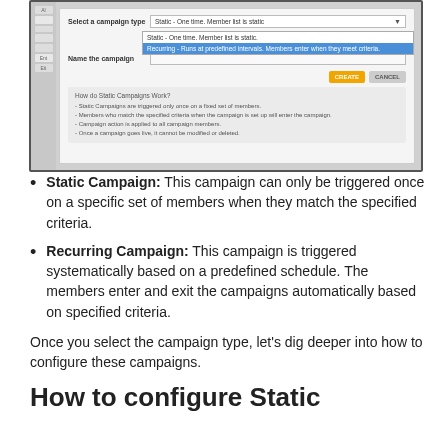[Figure (screenshot): Screenshot of a campaign creation dialog showing a dropdown with 'Static - One time. Member list is static' and 'Recurring - Runs at predefined intervals. Members enter when they meet criteria.' options, CREATE and CANCEL buttons, and a help section explaining how Static Campaigns work.]
Static Campaign: This campaign can only be triggered once on a specific set of members when they match the specified criteria.
Recurring Campaign: This campaign is triggered systematically based on a predefined schedule. The members enter and exit the campaigns automatically based on specified criteria.
Once you select the campaign type, let's dig deeper into how to configure these campaigns.
How to configure Static